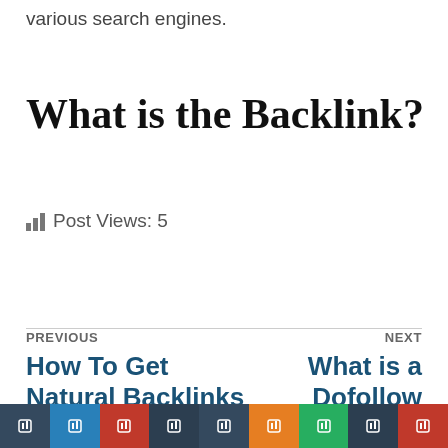various search engines.
What is the Backlink?
Post Views: 5
PREVIOUS
How To Get Natural Backlinks For Your Search
NEXT
What is a Dofollow Backlink